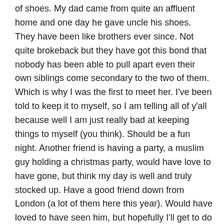of shoes. My dad came from quite an affluent home and one day he gave uncle his shoes. They have been like brothers ever since. Not quite brokeback but they have got this bond that nobody has been able to pull apart even their own siblings come secondary to the two of them. Which is why I was the first to meet her. I've been told to keep it to myself, so I am telling all of y'all because well I am just really bad at keeping things to myself (you think). Should be a fun night. Another friend is having a party, a muslim guy holding a christmas party, would have love to have gone, but think my day is well and truly stocked up. Have a good friend down from London (a lot of them here this year). Would have loved to have seen him, but hopefully I'll get to do that soon.
Well off to shower and make a move.